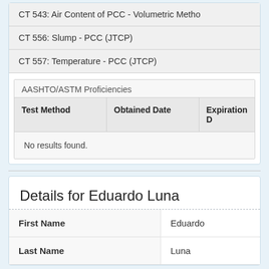CT 543: Air Content of PCC - Volumetric Metho
CT 556: Slump - PCC (JTCP)
CT 557: Temperature - PCC (JTCP)
| Test Method | Obtained Date | Expiration D |
| --- | --- | --- |
| No results found. |  |  |
Details for Eduardo Luna
| First Name | Eduardo |
| --- | --- |
| Last Name | Luna |